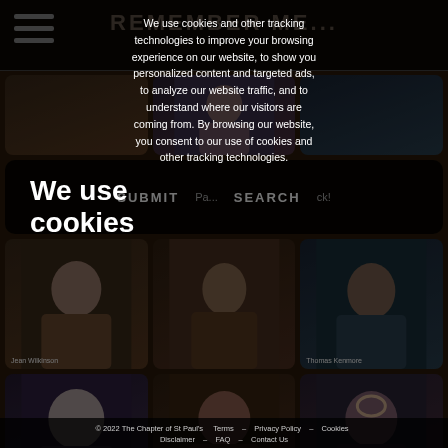REMEMBER ME...
[Figure (screenshot): Grid of person portrait cards with names: Jean Wilkinson, Thomas Kenmore, Kate Ryan, William Alan OCC, and others partially visible]
We use cookies
We use cookies and other tracking technologies to improve your browsing experience on our website, to show you personalized content and targeted ads, to analyze our website traffic, and to understand where our visitors are coming from. By browsing our website, you consent to our use of cookies and other tracking technologies.
I agree
© 2022 The Chapter of St Paul's  Terms  Privacy Policy  Cookies  Disclaimer  FAQ  Contact Us